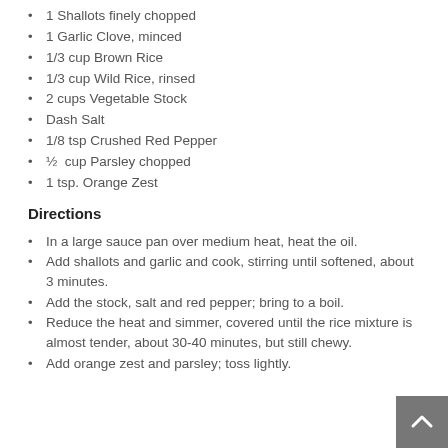1 Shallots finely chopped
1 Garlic Clove, minced
1/3 cup Brown Rice
1/3 cup Wild Rice, rinsed
2 cups Vegetable Stock
Dash Salt
1/8 tsp Crushed Red Pepper
½  cup Parsley chopped
1 tsp. Orange Zest
Directions
In a large sauce pan over medium heat, heat the oil.
Add shallots and garlic and cook, stirring until softened, about 3 minutes.
Add the stock, salt and red pepper; bring to a boil.
Reduce the heat and simmer, covered until the rice mixture is almost tender, about 30-40 minutes, but still chewy.
Add orange zest and parsley; toss lightly.